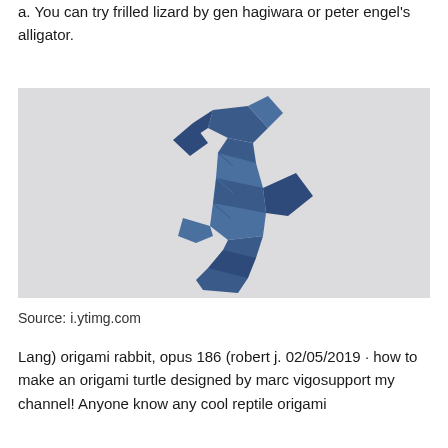a. You can try frilled lizard by gen hagiwara or peter engel's alligator.
[Figure (photo): A blue origami seahorse on a light gray/white background, folded from dark blue paper with geometric angular folds.]
Source: i.ytimg.com
Lang) origami rabbit, opus 186 (robert j. 02/05/2019 · how to make an origami turtle designed by marc vigosupport my channel! Anyone know any cool reptile origami